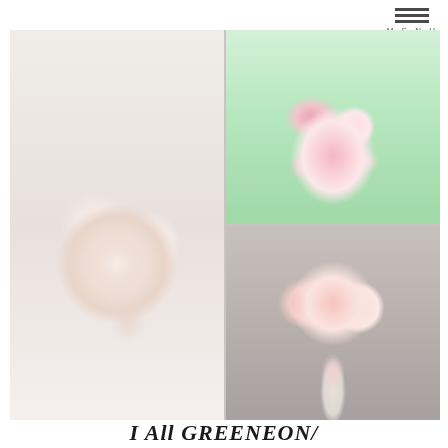MENU
[Figure (photo): Four wedding bouquet photos arranged in a 2x2 grid. Top-left: bride holding a pink and white rose bouquet against a green background. Top-right and bottom-right (spanning full height on right): close-up of a large cream/white rose bouquet with blush roses. Bottom-left: pink rose round bouquet on a ribbon-wrapped stem held low near ground.]
I All GREENEON/